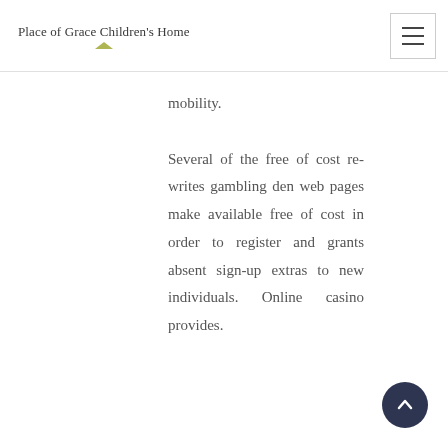Place of Grace Children's Home
mobility.

Several of the free of cost re-writes gambling den web pages make available free of cost in order to register and grants absent sign-up extras to new individuals. Online casino provides.